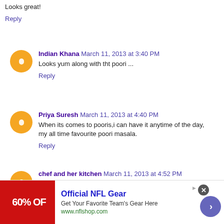Looks great!
Reply
Indian Khana  March 11, 2013 at 3:40 PM
Looks yum along with tht poori ...
Reply
Priya Suresh  March 11, 2013 at 4:40 PM
When its comes to pooris,i can have it anytime of the day, my all time favourite poori masala.
Reply
chef and her kitchen  March 11, 2013 at 4:52 PM
[Figure (infographic): Advertisement banner for Official NFL Gear showing 60% OFF text on red background, with ad title, subtitle, URL, close button, and navigation arrow.]